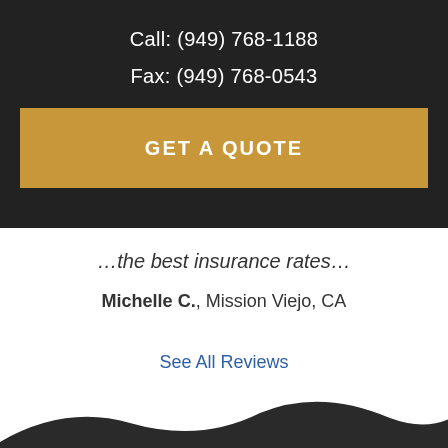Call: (949) 768-1188
Fax: (949) 768-0543
GET A QUOTE
…the best insurance rates…
Michelle C., Mission Viejo, CA
See All Reviews